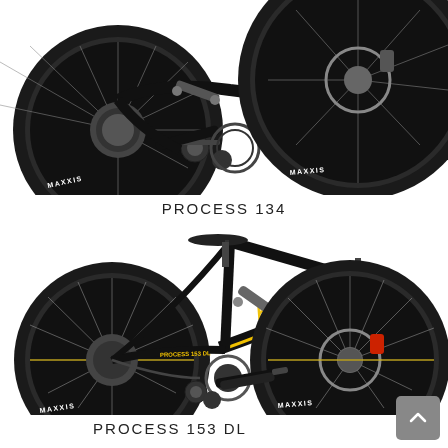[Figure (photo): Close-up photo of the lower/drivetrain section of a Kona Process 134 mountain bike with black frame, MAXXIS tires, disc brakes, and full suspension components visible]
PROCESS 134
[Figure (photo): Full side-view photo of the Kona Process 153 DL mountain bike with black frame, yellow and cyan Kona branding, MAXXIS tires, full suspension, disc brakes, and dropper post]
PROCESS 153 DL